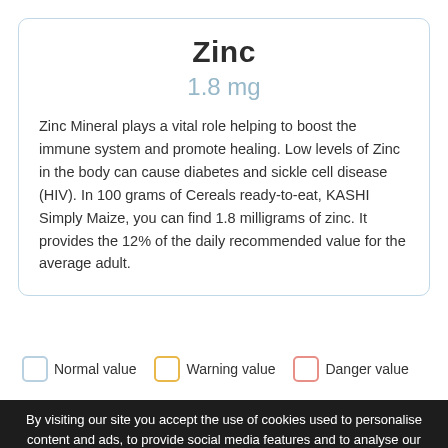Zinc
1.8 mg
Zinc Mineral plays a vital role helping to boost the immune system and promote healing. Low levels of Zinc in the body can cause diabetes and sickle cell disease (HIV). In 100 grams of Cereals ready-to-eat, KASHI Simply Maize, you can find 1.8 milligrams of zinc. It provides the 12% of the daily recommended value for the average adult.
Normal value   Warning value   Danger value
By visiting our site you accept the use of cookies used to personalise content and ads, to provide social media features and to analyse our traffic. We share information about your use of our site with our social media, advertising and analytics partners. See details
I ACCEPT
To maintain body function, the adult needs 2,000 calories per day. In 100 grams of Cereals ready-to-eat